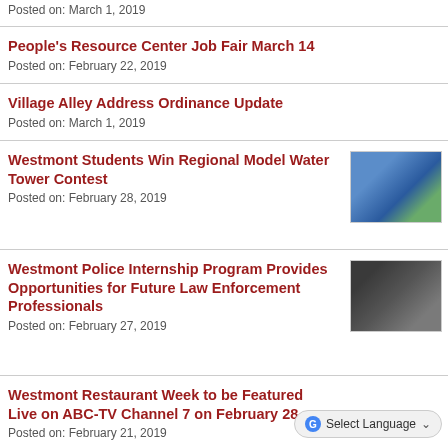Posted on: March 1, 2019
People's Resource Center Job Fair March 14
Posted on: February 22, 2019
Village Alley Address Ordinance Update
Posted on: March 1, 2019
Westmont Students Win Regional Model Water Tower Contest
[Figure (photo): Photo of students with model water tower]
Posted on: February 28, 2019
Westmont Police Internship Program Provides Opportunities for Future Law Enforcement Professionals
[Figure (photo): Photo of two police officers in uniform]
Posted on: February 27, 2019
Westmont Restaurant Week to be Featured Live on ABC-TV Channel 7 on February 28
Posted on: February 21, 2019